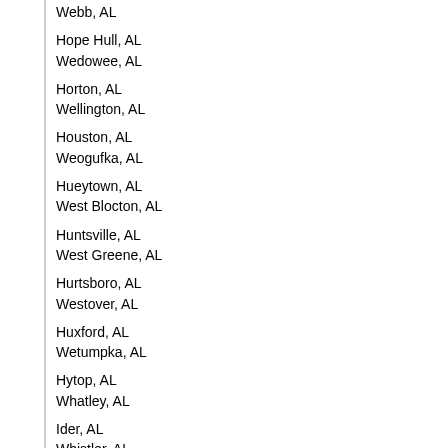Webb, AL
Hope Hull, AL
Wedowee, AL
Horton, AL
Wellington, AL
Houston, AL
Weogufka, AL
Hueytown, AL
West Blocton, AL
Huntsville, AL
West Greene, AL
Hurtsboro, AL
Westover, AL
Huxford, AL
Wetumpka, AL
Hytop, AL
Whatley, AL
Ider, AL
Whistler, AL
Indian Spgs, AL